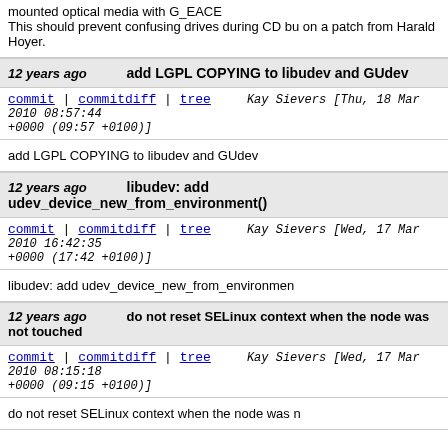mounted optical media with G_EACE
This should prevent confusing drives during CD bu on a patch from Harald Hoyer.
12 years ago   add LGPL COPYING to libudev and GUdev
commit | commitdiff | tree   Kay Sievers [Thu, 18 Mar 2010 08:57:44 +0000 (09:57 +0100)]
add LGPL COPYING to libudev and GUdev
12 years ago   libudev: add udev_device_new_from_environment()
commit | commitdiff | tree   Kay Sievers [Wed, 17 Mar 2010 16:42:35 +0000 (17:42 +0100)]
libudev: add udev_device_new_from_environment
12 years ago   do not reset SELinux context when the node was not touched
commit | commitdiff | tree   Kay Sievers [Wed, 17 Mar 2010 08:15:18 +0000 (09:15 +0100)]
do not reset SELinux context when the node was n